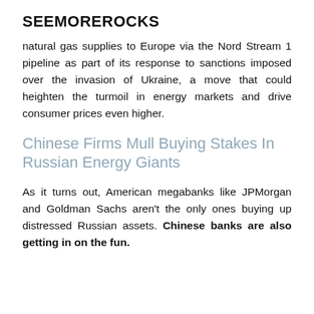SEEMOREROCKS
natural gas supplies to Europe via the Nord Stream 1 pipeline as part of its response to sanctions imposed over the invasion of Ukraine, a move that could heighten the turmoil in energy markets and drive consumer prices even higher.
Chinese Firms Mull Buying Stakes In Russian Energy Giants
As it turns out, American megabanks like JPMorgan and Goldman Sachs aren’t the only ones buying up distressed Russian assets. Chinese banks are also getting in on the fun.